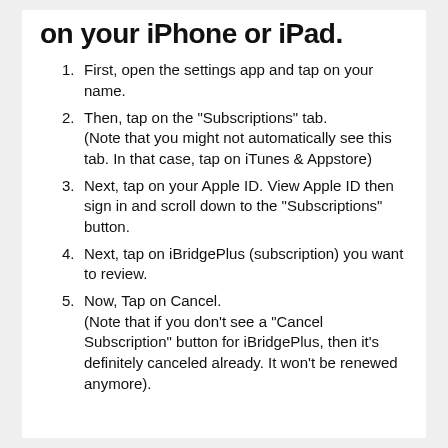on your iPhone or iPad.
First, open the settings app and tap on your name.
Then, tap on the "Subscriptions" tab. (Note that you might not automatically see this tab. In that case, tap on iTunes & Appstore)
Next, tap on your Apple ID. View Apple ID then sign in and scroll down to the "Subscriptions" button.
Next, tap on iBridgePlus (subscription) you want to review.
Now, Tap on Cancel. (Note that if you don't see a "Cancel Subscription" button for iBridgePlus, then it's definitely canceled already. It won't be renewed anymore).